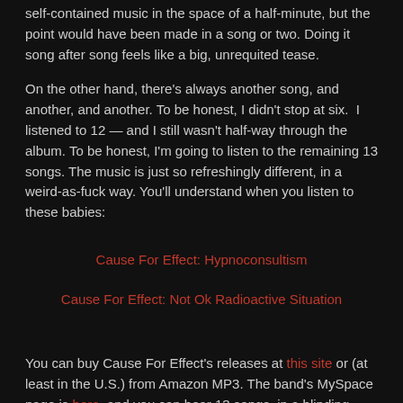self-contained music in the space of a half-minute, but the point would have been made in a song or two. Doing it song after song feels like a big, unrequited tease.
On the other hand, there's always another song, and another, and another. To be honest, I didn't stop at six.  I listened to 12 — and I still wasn't half-way through the album. To be honest, I'm going to listen to the remaining 13 songs. The music is just so refreshingly different, in a weird-as-fuck way. You'll understand when you listen to these babies:
Cause For Effect: Hypnoconsultism
Cause For Effect: Not Ok Radioactive Situation
You can buy Cause For Effect's releases at this site or (at least in the U.S.) from Amazon MP3. The band's MySpace page is here, and you can hear 13 songs, in a blinding flash, at their